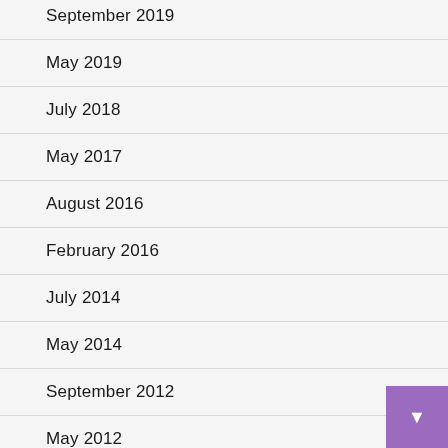September 2019
May 2019
July 2018
May 2017
August 2016
February 2016
July 2014
May 2014
September 2012
May 2012